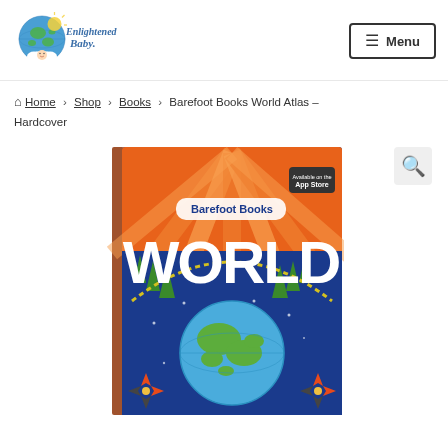[Figure (logo): Enlightened Baby logo: globe with baby and sun graphic, cursive text 'Enlightened Baby']
[Figure (other): Menu button with hamburger icon, bordered rectangle, text 'Menu']
Home › Shop › Books › Barefoot Books World Atlas – Hardcover
[Figure (photo): Book cover of Barefoot Books World Atlas showing colorful illustrated book cover with 'Barefoot Books WORLD' text, globe illustration, decorative border of trees and compass roses, sunburst pattern, App Store badge, on blue and orange background]